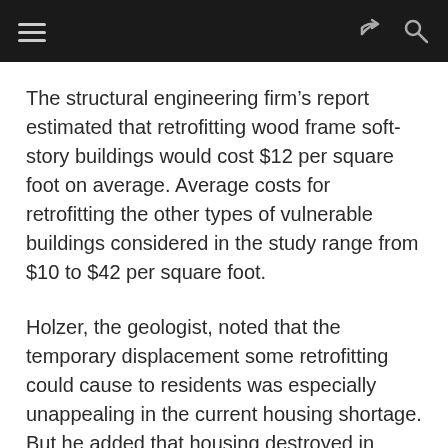Navigation bar with hamburger menu, share icon, and search icon
The structural engineering firm’s report estimated that retrofitting wood frame soft-story buildings would cost $12 per square foot on average. Average costs for retrofitting the other types of vulnerable buildings considered in the study range from $10 to $42 per square foot.
Holzer, the geologist, noted that the temporary displacement some retrofitting could cause to residents was especially unappealing in the current housing shortage. But he added that housing destroyed in earthquakes could cause displacement too.